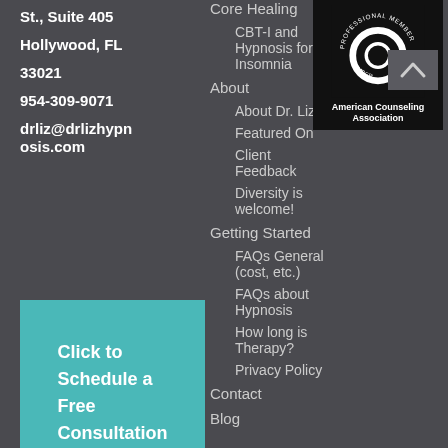St., Suite 405
Hollywood, FL
33021
954-309-9071
drliz@drlizhypnosis.com
Core Healing
CBT-I and Hypnosis for Insomnia
About
About Dr. Liz
Featured On
Client Feedback
Diversity is welcome!
Getting Started
FAQs General (cost, etc.)
FAQs about Hypnosis
How long is Therapy?
Privacy Policy
Contact
Blog
[Figure (logo): American Counseling Association professional member badge — circular logo with white ring on black background]
Click to Schedule a Free Consultation